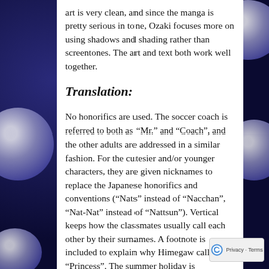art is very clean, and since the manga is pretty serious in tone, Ozaki focuses more on using shadows and shading rather than screentones. The art and text both work well together.
Translation:
No honorifics are used. The soccer coach is referred to both as “Mr.” and “Coach”, and the other adults are addressed in a similar fashion. For the cutesier and/or younger characters, they are given nicknames to replace the Japanese honorifics and conventions (“Nats” instead of “Nacchan”, “Nat-Nat” instead of “Nattsun”). Vertical keeps how the classmates usually call each other by their surnames. A footnote is included to explain why Himegaw called “Princess”. The summer holiday is romanized as “O-Bon”, “chirashi sushi” is